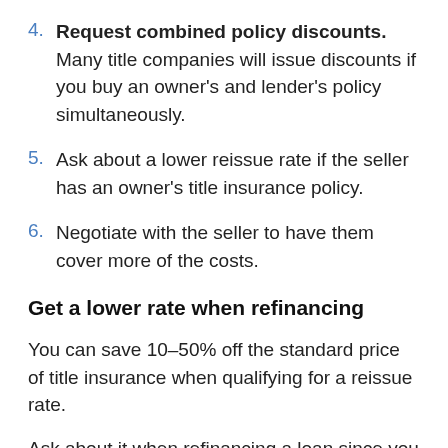4. Request combined policy discounts. Many title companies will issue discounts if you buy an owner's and lender's policy simultaneously.
5. Ask about a lower reissue rate if the seller has an owner's title insurance policy.
6. Negotiate with the seller to have them cover more of the costs.
Get a lower rate when refinancing
You can save 10–50% off the standard price of title insurance when qualifying for a reissue rate.
Ask about it when refinancing a loan since you already have a lender's title insurance policy in place.